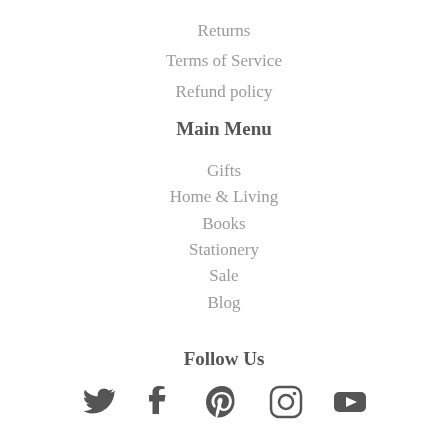Returns
Terms of Service
Refund policy
Main Menu
Gifts
Home & Living
Books
Stationery
Sale
Blog
Follow Us
[Figure (infographic): Social media icons: Twitter, Facebook, Pinterest, Instagram, YouTube]